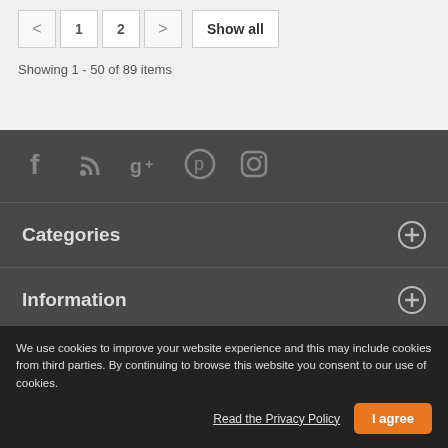< 1 2 > Show all
Showing 1 - 50 of 89 items
[Figure (other): Social media icons: Facebook, RSS, Google+, Pinterest, Instagram]
Categories
Information
My account
We use cookies to improve your website experience and this may include cookies from third parties. By continuing to browse this website you consent to our use of cookies.
Read the Privacy Policy
I agree